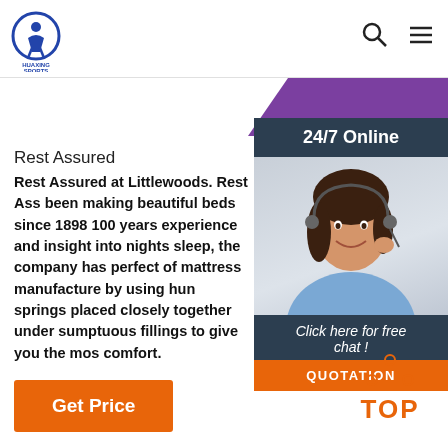[Figure (logo): Huaxing Sports logo - circular blue border with stylized figure inside, text 'HUAXING SPORTS' below]
[Figure (infographic): Search icon (magnifying glass) and hamburger menu icon in header]
[Figure (infographic): Purple decorative diagonal band in top right area]
[Figure (photo): 24/7 Online chat widget with photo of smiling woman with headset, dark navy background, orange QUOTATION button and 'Click here for free chat!' text]
Rest Assured
Rest Assured at Littlewoods. Rest Ass been making beautiful beds since 1898 100 years experience and insight into nights sleep, the company has perfect of mattress manufacture by using hun springs placed closely together under sumptuous fillings to give you the mos comfort.
[Figure (other): Orange 'Get Price' button]
[Figure (infographic): Orange 'TOP' back-to-top button with dotted triangle above]